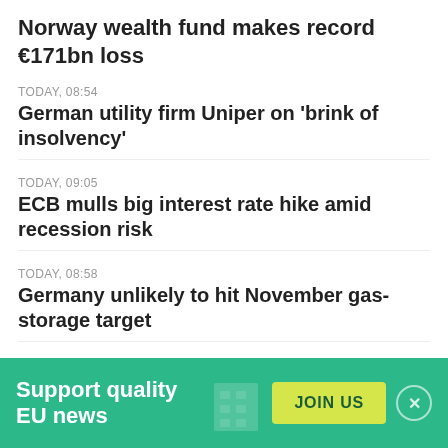Norway wealth fund makes record €171bn loss
TODAY, 08:54
German utility firm Uniper on 'brink of insolvency'
TODAY, 09:05
ECB mulls big interest rate hike amid recession risk
TODAY, 08:58
Germany unlikely to hit November gas-storage target
TODAY, 09:03
Mali accuses France of arming Islamist fighters
STAKEHOLDERS' HIGHLIGHTS
NORDIC COUNCIL OF MINISTERS
Nordic prime ministers: “We will deepen co-operation on
Support quality EU news
JOIN US